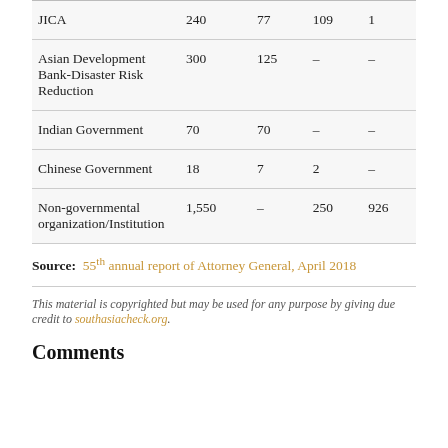| JICA | 240 | 77 | 109 | 1 |
| Asian Development Bank-Disaster Risk Reduction | 300 | 125 | – | – |
| Indian Government | 70 | 70 | – | – |
| Chinese Government | 18 | 7 | 2 | – |
| Non-governmental organization/Institution | 1,550 | – | 250 | 926 |
Source: 55th annual report of Attorney General, April 2018
This material is copyrighted but may be used for any purpose by giving due credit to southasiacheck.org.
Comments